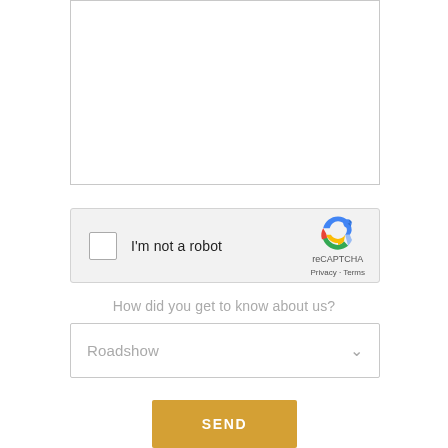[Figure (screenshot): Text area input box, partially visible at top of page]
[Figure (screenshot): reCAPTCHA widget with checkbox labeled 'I'm not a robot' and reCAPTCHA logo with Privacy and Terms links]
How did you get to know about us?
[Figure (screenshot): Dropdown select box showing 'Roadshow' as selected option with chevron arrow]
[Figure (screenshot): SEND button in golden/amber color]